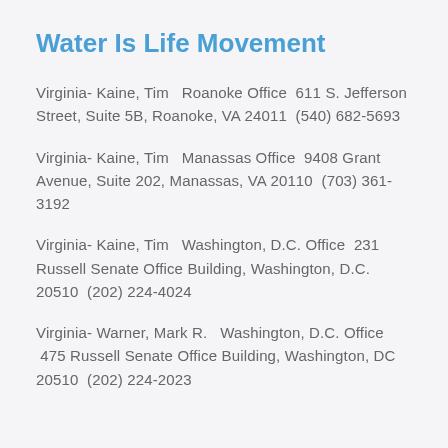Water Is Life Movement
Virginia- Kaine, Tim   Roanoke Office  611 S. Jefferson Street, Suite 5B, Roanoke, VA 24011  (540) 682-5693
Virginia- Kaine, Tim   Manassas Office  9408 Grant Avenue, Suite 202, Manassas, VA 20110  (703) 361-3192
Virginia- Kaine, Tim   Washington, D.C. Office  231 Russell Senate Office Building, Washington, D.C. 20510  (202) 224-4024
Virginia- Warner, Mark R.   Washington, D.C. Office  475 Russell Senate Office Building, Washington, DC 20510  (202) 224-2023